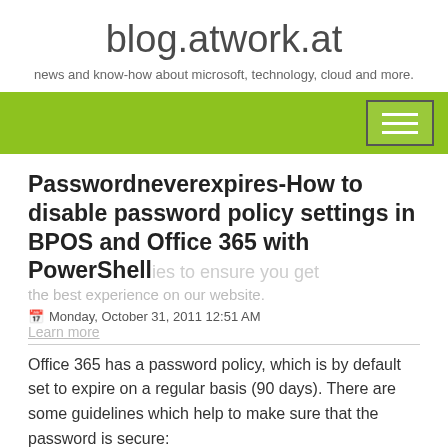blog.atwork.at
news and know-how about microsoft, technology, cloud and more.
[Figure (other): Green navigation bar with hamburger menu icon on the right]
Passwordneverexpires-How to disable password policy settings in BPOS and Office 365 with PowerShell
Monday, October 31, 2011 12:51 AM
Office 365 has a password policy, which is by default set to expire on a regular basis (90 days). There are some guidelines which help to make sure that the password is secure:
Use 8 to 16 characters